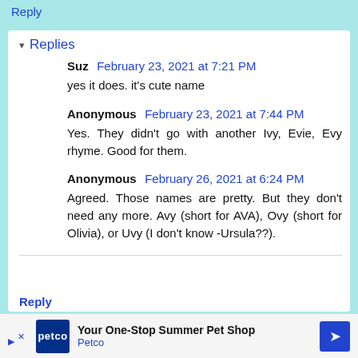Reply
▾ Replies
Suz  February 23, 2021 at 7:21 PM
yes it does. it's cute name
Anonymous  February 23, 2021 at 7:44 PM
Yes. They didn't go with another Ivy, Evie, Evy rhyme. Good for them.
Anonymous  February 26, 2021 at 6:24 PM
Agreed. Those names are pretty. But they don't need any more. Avy (short for AVA), Ovy (short for Olivia), or Uvy (I don't know -Ursula??).
Reply
[Figure (infographic): Petco advertisement banner: Your One-Stop Summer Pet Shop - Petco]